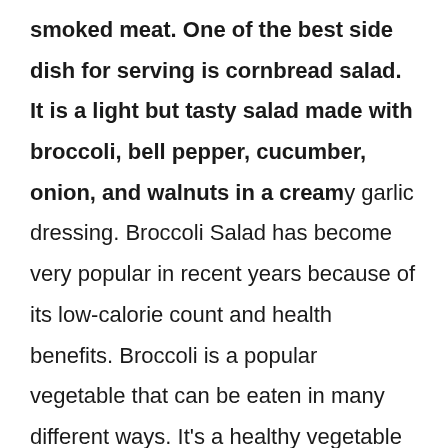smoked meat. One of the best side dish for serving is cornbread salad. It is a light but tasty salad made with broccoli, bell pepper, cucumber, onion, and walnuts in a creamy garlic dressing. Broccoli Salad has become very popular in recent years because of its low-calorie count and health benefits. Broccoli is a popular vegetable that can be eaten in many different ways. It's a healthy vegetable that contains high